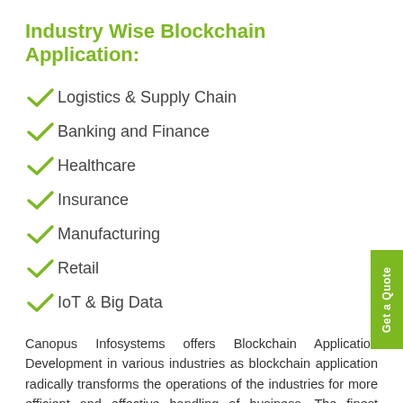Industry Wise Blockchain Application:
Logistics & Supply Chain
Banking and Finance
Healthcare
Insurance
Manufacturing
Retail
IoT & Big Data
Canopus Infosystems offers Blockchain Application Development in various industries as blockchain application radically transforms the operations of the industries for more efficient and effective handling of business. The finest example of the blockchain application in one sector can be of financial service. Blockchain application is considered to be one of the most valued applications in any banking sector. Not the blockchain applications allowed to only the land-based